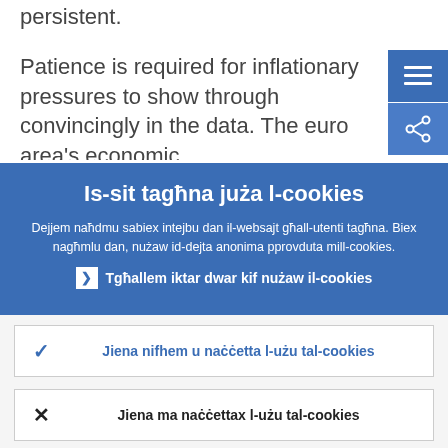persistent.
Patience is required for inflationary pressures to show through convincingly in the data. The euro area's economic
Is-sit tagħna juża l-cookies
Dejjem naħdmu sabiex intejbu dan il-websajt għall-utenti tagħna. Biex nagħmlu dan, nużaw id-dejta anonima pprovduta mill-cookies.
Tgħallem iktar dwar kif nużaw il-cookies
Jiena nifhem u naċċetta l-użu tal-cookies
Jiena ma naċċettax l-użu tal-cookies